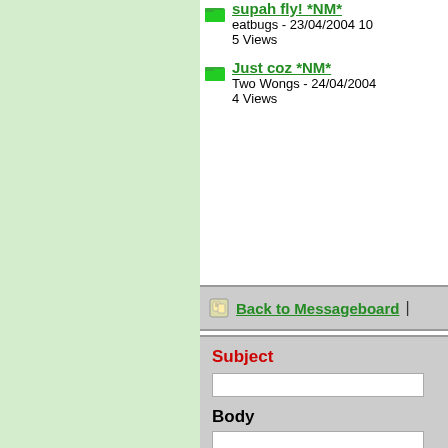supah fly! *NM* — eatbugs - 23/04/2004 10... — 5 Views
Just coz *NM* — Two Wongs - 24/04/2004... — 4 Views
Back to Messageboard |
Subject
Body